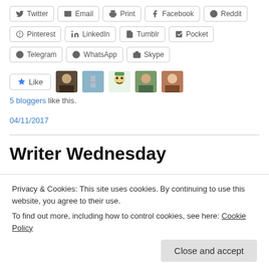[Figure (screenshot): Social share buttons row 1: Twitter, Email, Print, Facebook, Reddit]
[Figure (screenshot): Social share buttons row 2: Pinterest, LinkedIn, Tumblr, Pocket]
[Figure (screenshot): Social share buttons row 3: Telegram, WhatsApp, Skype]
[Figure (screenshot): Like button with 5 blogger avatars]
5 bloggers like this.
04/11/2017
Writer Wednesday
Privacy & Cookies: This site uses cookies. By continuing to use this website, you agree to their use.
To find out more, including how to control cookies, see here: Cookie Policy
idea-generating, but now I look forward to going back to